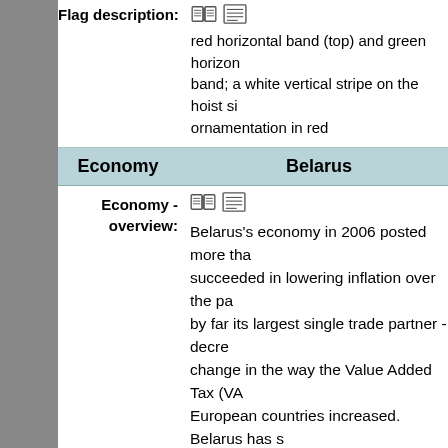Flag description: [icons] red horizontal band (top) and green horizontal band; a white vertical stripe on the hoist side ornamentation in red
Economy   Belarus
Economy - overview: [icons] Belarus's economy in 2006 posted more than succeeded in lowering inflation over the pa by far its largest single trade partner - decre change in the way the Value Added Tax (VA European countries increased. Belarus has s 1995, when President LUKASHENKO lau "market socialism." In keeping with this po administrative controls over prices and curr state's right to intervene in the management the government has re-nationalized a numb businesses have been subject to pressure by arbitrary changes in regulations, numerous application of new business regulations, an and factory owners. A wide range of redistr the bottom of the ladder; the Gini coefficien Because of these restrictive economic polic foreign investment, which remains low. Gre